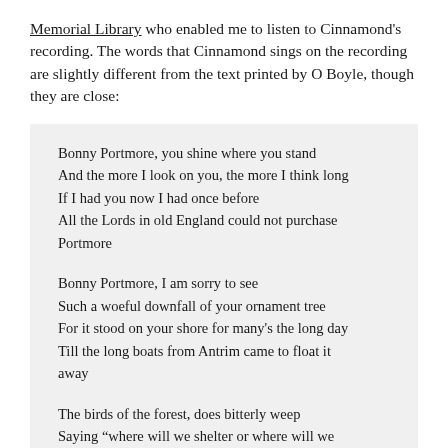Memorial Library who enabled me to listen to Cinnamond's recording. The words that Cinnamond sings on the recording are slightly different from the text printed by O Boyle, though they are close:
Bonny Portmore, you shine where you stand
And the more I look on you, the more I think long
If I had you now I had once before
All the Lords in old England could not purchase Portmore

Bonny Portmore, I am sorry to see
Such a woeful downfall of your ornament tree
For it stood on your shore for many's the long day
Till the long boats from Antrim came to float it away

The birds of the forest, does bitterly weep
Saying “where will we shelter or where will we sleep?”